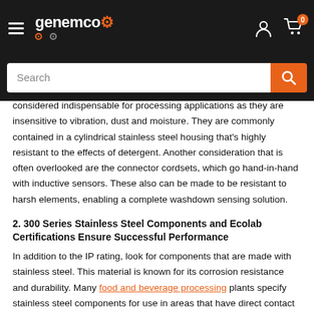genemco [logo with gears] — navigation header with search bar
considered indispensable for processing applications as they are insensitive to vibration, dust and moisture. They are commonly contained in a cylindrical stainless steel housing that's highly resistant to the effects of detergent. Another consideration that is often overlooked are the connector cordsets, which go hand-in-hand with inductive sensors. These also can be made to be resistant to harsh elements, enabling a complete washdown sensing solution.
2. 300 Series Stainless Steel Components and Ecolab Certifications Ensure Successful Performance
In addition to the IP rating, look for components that are made with stainless steel. This material is known for its corrosion resistance and durability. Many food and beverage processing plants specify stainless steel components for use in areas that have direct contact